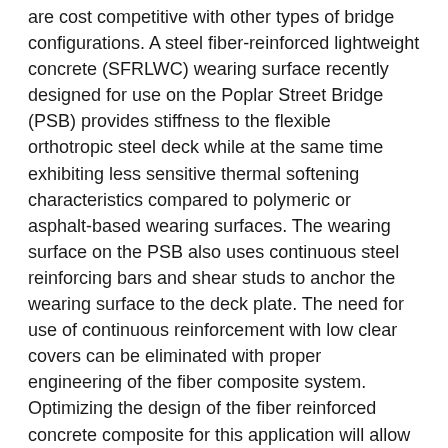are cost competitive with other types of bridge configurations. A steel fiber-reinforced lightweight concrete (SFRLWC) wearing surface recently designed for use on the Poplar Street Bridge (PSB) provides stiffness to the flexible orthotropic steel deck while at the same time exhibiting less sensitive thermal softening characteristics compared to polymeric or asphalt-based wearing surfaces. The wearing surface on the PSB also uses continuous steel reinforcing bars and shear studs to anchor the wearing surface to the deck plate. The need for use of continuous reinforcement with low clear covers can be eliminated with proper engineering of the fiber composite system. Optimizing the design of the fiber reinforced concrete composite for this application will allow superior performance and reduced costs by also allowing a redesign of the currently used shear-stud-based anchoring system. Mechanical and durability characteristics desired in wearing surfaces can also be engineered in the systematic optimization of the SFRLWC composite